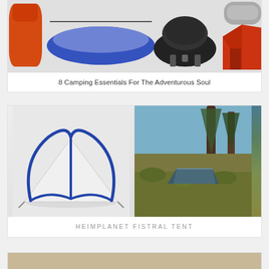[Figure (photo): Collage of camping essentials including a sleeping bag, hammock, portable grill, and orange tent]
8 Camping Essentials For The Adventurous Soul
[Figure (photo): Two photos of the Heimplanet Fistral Tent: product shot on white background (left) and outdoor setting in nature (right)]
HEIMPLANET FISTRAL TENT